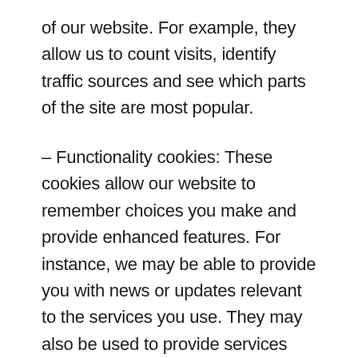of our website. For example, they allow us to count visits, identify traffic sources and see which parts of the site are most popular.
– Functionality cookies: These cookies allow our website to remember choices you make and provide enhanced features. For instance, we may be able to provide you with news or updates relevant to the services you use. They may also be used to provide services you have requested such as viewing a video or commenting on a blog. The information these cookies collect is usually anonymised.